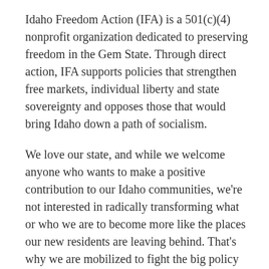Idaho Freedom Action (IFA) is a 501(c)(4) nonprofit organization dedicated to preserving freedom in the Gem State. Through direct action, IFA supports policies that strengthen free markets, individual liberty and state sovereignty and opposes those that would bring Idaho down a path of socialism.
We love our state, and while we welcome anyone who wants to make a positive contribution to our Idaho communities, we're not interested in radically transforming what or who we are to become more like the places our new residents are leaving behind. That's why we are mobilized to fight the big policy battles facing Idaho, from reckless tax-and-spend proposals to the hostile woke takeover of education.
Idaho Freedom Action is the state's premier free market advocacy organization. Armed with the